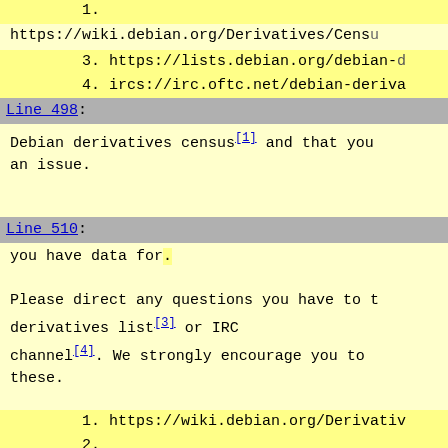https://wiki.debian.org/Derivatives/Censu...
3. https://lists.debian.org/debian-d...
4. ircs://irc.oftc.net/debian-deriva...
Line 498:
Debian derivatives census[1] and that you... an issue.
Line 510:
you have data for.
Please direct any questions you have to the derivatives list[3] or IRC channel[4]. We strongly encourage you to these.
1. https://wiki.debian.org/Derivativ...
2.
https://wiki.debian.org/Derivatives/Cens...